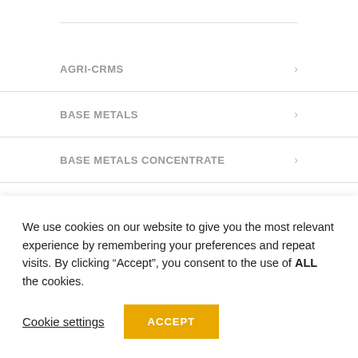AGRI-CRMs
BASE METALS
BASE METALS CONCENTRATE
BLANKS
We use cookies on our website to give you the most relevant experience by remembering your preferences and repeat visits. By clicking “Accept”, you consent to the use of ALL the cookies.
Cookie settings
ACCEPT